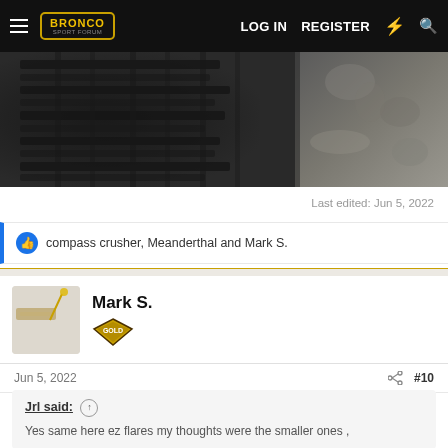BRONCO SPORT FORUM — LOG IN  REGISTER
[Figure (photo): Close-up photo of a vehicle tire tread on gravel/rock surface, dark/black tones]
Last edited: Jun 5, 2022
compass crusher, Meanderthal and Mark S.
Mark S.
Jun 5, 2022  #10
Jrl said:
Yes same here ez flares my thoughts were the smaller ones ,